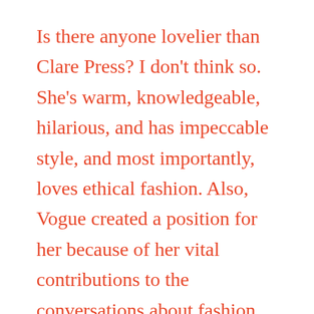Is there anyone lovelier than Clare Press? I don't think so. She's warm, knowledgeable, hilarious, and has impeccable style, and most importantly, loves ethical fashion. Also, Vogue created a position for her because of her vital contributions to the conversations about fashion, waste, and the environment —that's how badass this woman is.

Clare is an author, journalist, speaker, podcast host, Fashion Revolution volunteer, cat lover, plastic hater, and the first